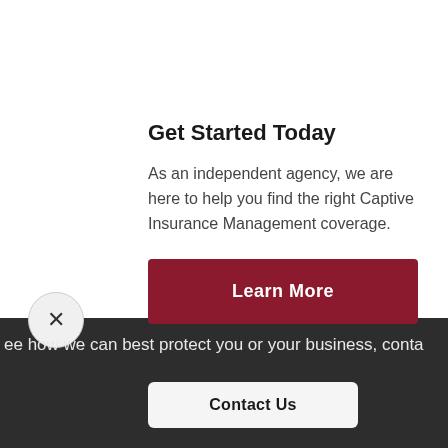Get Started Today
As an independent agency, we are here to help you find the right Captive Insurance Management coverage.
Learn More
ee how we can best protect you or your business, conta
Contact Us